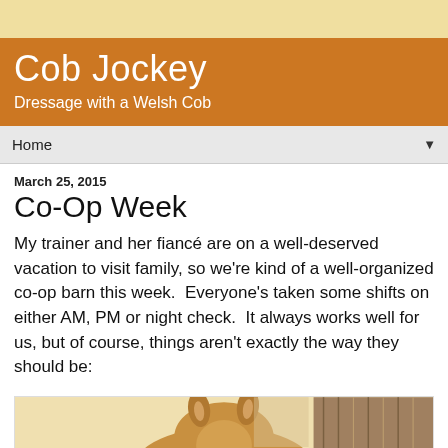Cob Jockey
Dressage with a Welsh Cob
Home
March 25, 2015
Co-Op Week
My trainer and her fiancé are on a well-deserved vacation to visit family, so we're kind of a well-organized co-op barn this week.  Everyone's taken some shifts on either AM, PM or night check.  It always works well for us, but of course, things aren't exactly the way they should be:
[Figure (photo): Photo of a horse's head/ears, with wooden barn background visible]